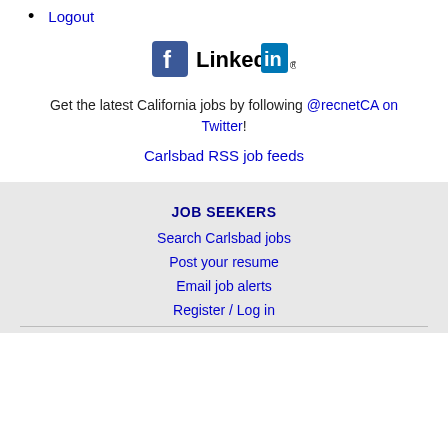Logout
[Figure (logo): Facebook and LinkedIn social media icons]
Get the latest California jobs by following @recnetCA on Twitter!
Carlsbad RSS job feeds
JOB SEEKERS
Search Carlsbad jobs
Post your resume
Email job alerts
Register / Log in